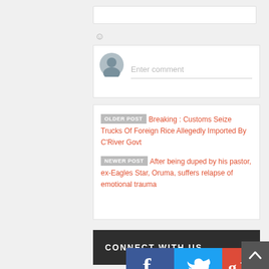[Figure (screenshot): Search input bar at top]
[Figure (screenshot): Smiley/emoji icon]
[Figure (screenshot): Comment box with avatar and Enter comment placeholder]
OLDER POST  Breaking : Customs Seize Trucks Of Foreign Rice Allegedly Imported By C'River Govt
NEWER POST  After being duped by his pastor, ex-Eagles Star, Oruma, suffers relapse of emotional trauma
CONNECT WITH US
[Figure (logo): Facebook, Twitter, Google+ social media icons]
[Figure (screenshot): Back to top button]